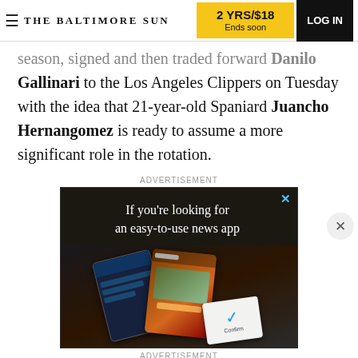THE BALTIMORE SUN | 2 YRS/$18 Ends soon | LOG IN
season, signed and then traded forward Danilo Gallinari to the Los Angeles Clippers on Tuesday with the idea that 21-year-old Spaniard Juancho Hernangomez is ready to assume a more significant role in the rotation.
ADVERTISEMENT
[Figure (screenshot): Advertisement: dark background ad with text 'If you're looking for an easy-to-use news app' and an image of mobile app screens/cards. Has a blue X close button in top right corner.]
ADVERTISEMENT